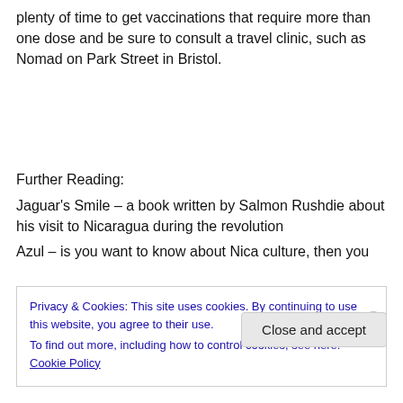plenty of time to get vaccinations that require more than one dose and be sure to consult a travel clinic, such as Nomad on Park Street in Bristol.
Further Reading:
Jaguar's Smile – a book written by Salmon Rushdie about his visit to Nicaragua during the revolution
Azul – is you want to know about Nica culture, then you
Privacy & Cookies: This site uses cookies. By continuing to use this website, you agree to their use.
To find out more, including how to control cookies, see here: Cookie Policy
Close and accept